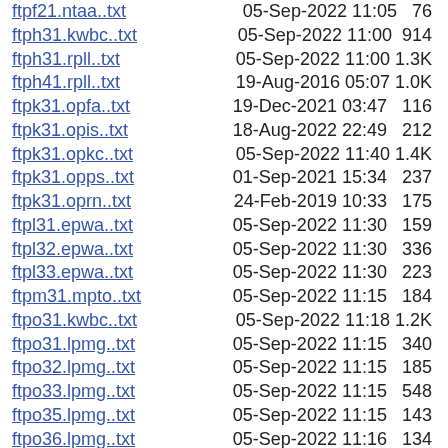ftpf21.ntaa..txt   05-Sep-2022 11:05   76
ftph31.kwbc..txt   05-Sep-2022 11:00   914
ftph31.rpll..txt   05-Sep-2022 11:00   1.3K
ftph41.rpll..txt   19-Aug-2016 05:07   1.0K
ftpk31.opfa..txt   19-Dec-2021 03:47   116
ftpk31.opis..txt   18-Aug-2022 22:49   212
ftpk31.opkc..txt   05-Sep-2022 11:40   1.4K
ftpk31.opps..txt   01-Sep-2021 15:34   237
ftpk31.oprn..txt   24-Feb-2019 10:33   175
ftpl31.epwa..txt   05-Sep-2022 11:30   159
ftpl32.epwa..txt   05-Sep-2022 11:30   336
ftpl33.epwa..txt   05-Sep-2022 11:30   223
ftpm31.mpto..txt   05-Sep-2022 11:15   184
ftpo31.kwbc..txt   05-Sep-2022 11:18   1.2K
ftpo31.lpmg..txt   05-Sep-2022 11:15   340
ftpo32.lpmg..txt   05-Sep-2022 11:15   185
ftpo33.lpmg..txt   05-Sep-2022 11:15   548
ftpo35.lpmg..txt   05-Sep-2022 11:15   143
ftpo36.lpmg..txt   05-Sep-2022 11:16   134
ftpo61.lpam..txt   05-Sep-2022 11:11   559
ftpo61.lpnt..txt   24-Dec-2009 00:09   363